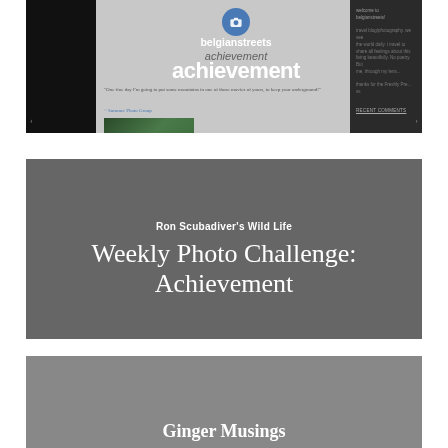[Figure (screenshot): Screenshot of belgianstreets blog showing camera icon, site name 'belgianstreets', text overlay 'achievement', a quote, author link, green photo, and sidebar with welcome text]
[Figure (screenshot): Screenshot of Ron Scubadiver's Wild Life blog with subtitle 'Ron Scubadiver's Wild Life' and title 'Weekly Photo Challenge: Achievement' on grey background]
[Figure (screenshot): Screenshot of Ginger Musings blog with title 'Ginger Musings' on grey background]